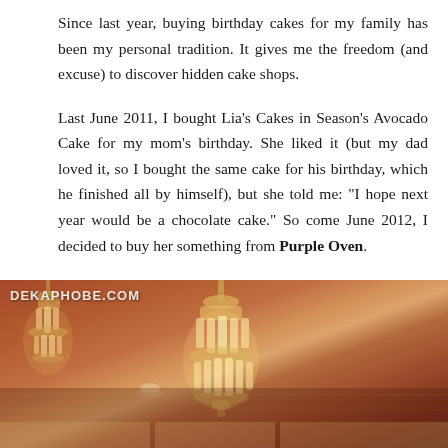Since last year, buying birthday cakes for my family has been my personal tradition. It gives me the freedom (and excuse) to discover hidden cake shops.
Last June 2011, I bought Lia's Cakes in Season's Avocado Cake for my mom's birthday. She liked it (but my dad loved it, so I bought the same cake for his birthday, which he finished all by himself), but she told me: "I hope next year would be a chocolate cake." So come June 2012, I decided to buy her something from Purple Oven.
[Figure (photo): Interior photo of a restaurant or bakery showing ornate glass chandeliers hanging from the ceiling, with warm amber/orange lighting and atmospheric ceiling details. Watermark 'DEKAPHOBE.COM' visible in upper left.]